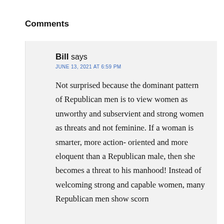Comments
Bill says
JUNE 13, 2021 AT 6:59 PM
Not surprised because the dominant pattern of Republican men is to view women as unworthy and subservient and strong women as threats and not feminine. If a woman is smarter, more action- oriented and more eloquent than a Republican male, then she becomes a threat to his manhood! Instead of welcoming strong and capable women, many Republican men show scorn